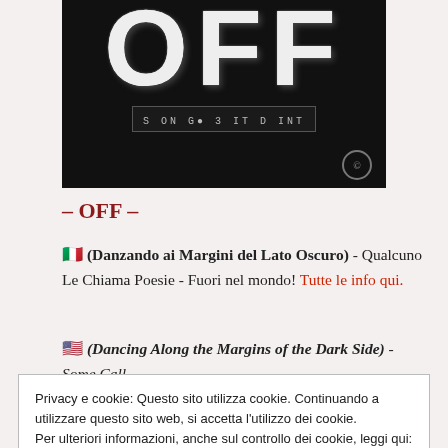[Figure (photo): Book cover with black background, large white bold text 'OFF', barcode-like element, and Creative Commons icon]
– OFF –
🇮🇹 (Danzando ai Margini del Lato Oscuro) - Qualcuno Le Chiama Poesie - Fuori nel mondo! Tutte le info qui.
🇺🇸 (Dancing Along the Margins of the Dark Side) - Some Call
Privacy e cookie: Questo sito utilizza cookie. Continuando a utilizzare questo sito web, si accetta l'utilizzo dei cookie.
Per ulteriori informazioni, anche sul controllo dei cookie, leggi qui:
Informativa sui cookie
Chiudi e accetta
[Figure (photo): Bottom portion of book cover showing Italian and English subtitle text on dark background]